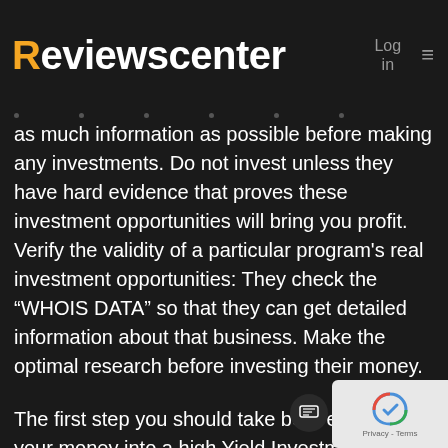Reviewscenter  Log in  ≡
as much information as possible before making any investments. Do not invest unless they have hard evidence that proves these investment opportunities will bring you profit. Verify the validity of a particular program's real investment opportunities: They check the “WHOIS DATA” so that they can get detailed information about that business. Make the optimal research before investing their money.
The first step you should take before investing your money into a high Yield Investment program is to find out the most profitable and stable programs that could